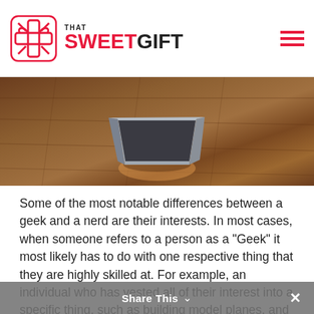THAT SWEETGIFT
[Figure (photo): An open wooden or grey box sitting on a warm brown hardwood floor, photographed from above at an angle, with light reflecting off the floor beneath the box.]
Some of the most notable differences between a geek and a nerd are their interests. In most cases, when someone refers to a person as a “Geek” it most likely has to do with one respective thing that they are highly skilled at. For example, an individual who has vested all of their interest into a specific thing, such as building model planes, and understands it on a level that an ordinary layman would never understand. Though it’s important to note that geeks don’t have a single interest, they typically have several, it’s just that
Share This